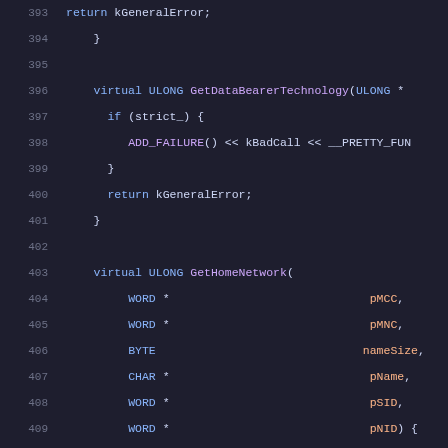Source code listing lines 393-414 showing C++ class methods GetDataBearerTechnology and GetHomeNetwork with stub implementations returning kGeneralError